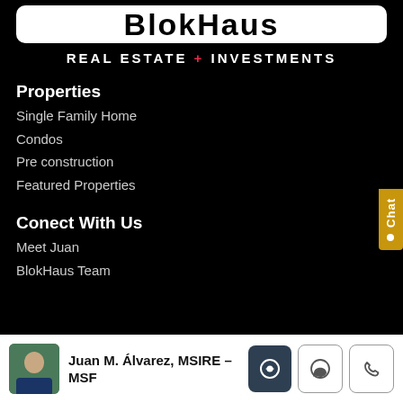[Figure (logo): BlokHaus logo in white box with rounded corners, dark bold stylized text]
REAL ESTATE + INVESTMENTS
Properties
Single Family Home
Condos
Pre construction
Featured Properties
Conect With Us
Meet Juan
BlokHaus Team
Juan M. Álvarez, MSIRE – MSF